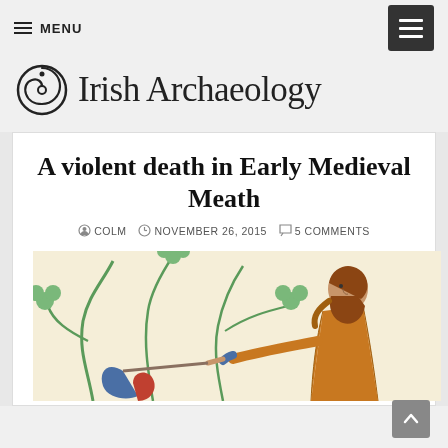MENU
Irish Archaeology
A violent death in Early Medieval Meath
COLM   NOVEMBER 26, 2015   5 COMMENTS
[Figure (illustration): Medieval manuscript illumination showing a bearded man in orange/brown robes wielding an axe, with green trefoil plants in the background]